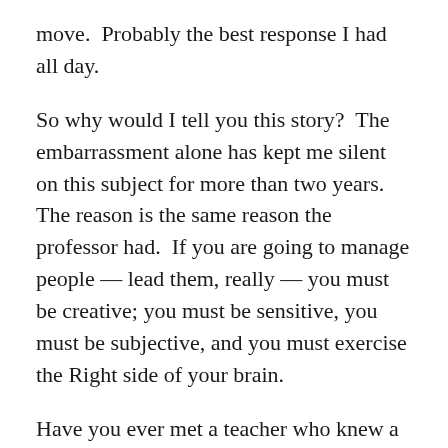move.  Probably the best response I had all day.
So why would I tell you this story?  The embarrassment alone has kept me silent on this subject for more than two years.  The reason is the same reason the professor had.  If you are going to manage people — lead them, really — you must be creative; you must be sensitive, you must be subjective, and you must exercise the Right side of your brain.
Have you ever met a teacher who knew a subject thoroughly and completely but couldn't teach it?  I think we all have.  Have you ever had a supervisor who was an expert in your job, who could do it better than you even if he were